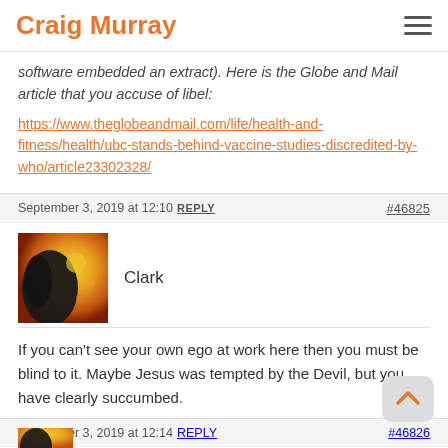Craig Murray
software embedded an extract). Here is the Globe and Mail article that you accuse of libel:
https://www.theglobeandmail.com/life/health-and-fitness/health/ubc-stands-behind-vaccine-studies-discredited-by-who/article23302328/
September 3, 2019 at 12:10 REPLY #46825
Clark
If you can't see your own ego at work here then you must be blind to it. Maybe Jesus was tempted by the Devil, but you have clearly succumbed.
September 3, 2019 at 12:14 REPLY #46826